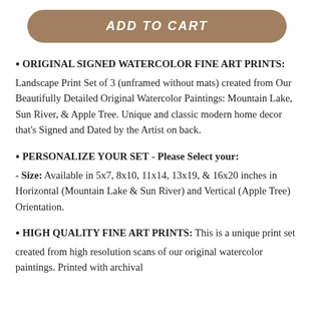[Figure (other): ADD TO CART button, tan/brown rounded rectangle]
ORIGINAL SIGNED WATERCOLOR FINE ART PRINTS: Landscape Print Set of 3 (unframed without mats) created from Our Beautifully Detailed Original Watercolor Paintings: Mountain Lake, Sun River, & Apple Tree. Unique and classic modern home decor that's Signed and Dated by the Artist on back.
PERSONALIZE YOUR SET - Please Select your: - Size: Available in 5x7, 8x10, 11x14, 13x19, & 16x20 inches in Horizontal (Mountain Lake & Sun River) and Vertical (Apple Tree) Orientation.
HIGH QUALITY FINE ART PRINTS: This is a unique print set created from high resolution scans of our original watercolor paintings. Printed with archival